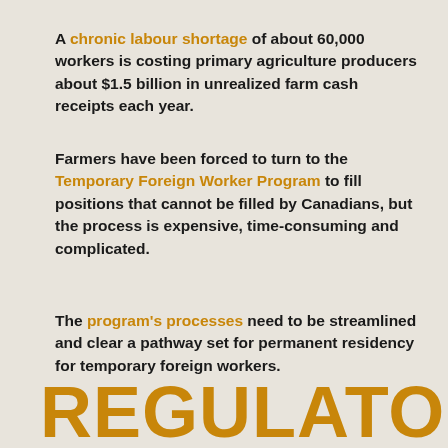A chronic labour shortage of about 60,000 workers is costing primary agriculture producers about $1.5 billion in unrealized farm cash receipts each year.
Farmers have been forced to turn to the Temporary Foreign Worker Program to fill positions that cannot be filled by Canadians, but the process is expensive, time-consuming and complicated.
The program's processes need to be streamlined and clear a pathway set for permanent residency for temporary foreign workers.
REGULATORY